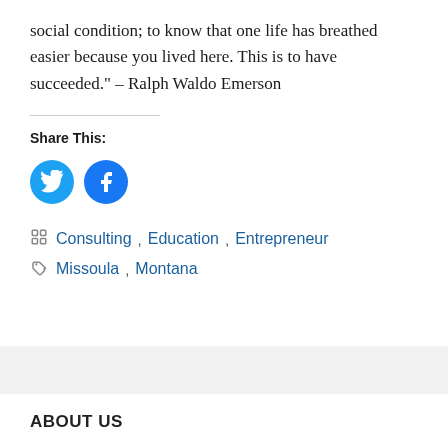social condition; to know that one life has breathed easier because you lived here. This is to have succeeded." – Ralph Waldo Emerson
Share This:
[Figure (illustration): Two circular social media share buttons: Twitter (light blue) and Facebook (dark blue)]
Consulting, Education, Entrepreneur
Missoula, Montana
ABOUT US